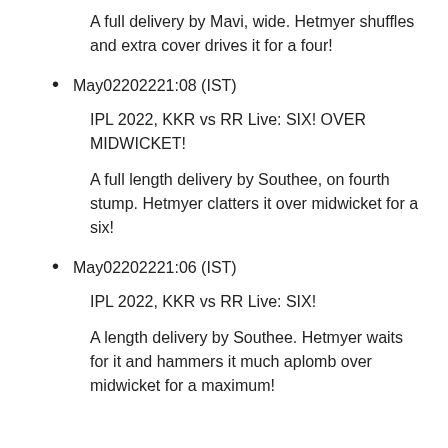A full delivery by Mavi, wide. Hetmyer shuffles and extra cover drives it for a four!
May02202221:08 (IST)
IPL 2022, KKR vs RR Live: SIX! OVER MIDWICKET!
A full length delivery by Southee, on fourth stump. Hetmyer clatters it over midwicket for a six!
May02202221:06 (IST)
IPL 2022, KKR vs RR Live: SIX!
A length delivery by Southee. Hetmyer waits for it and hammers it much aplomb over midwicket for a maximum!